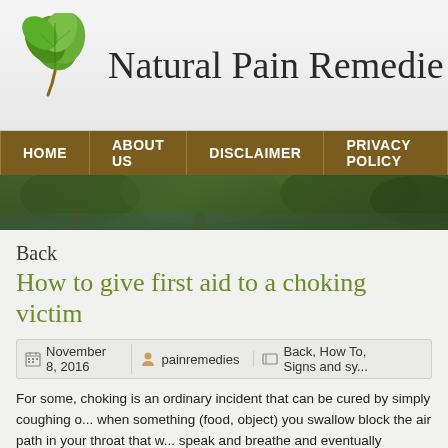[Figure (logo): Natural Pain Remedies website header with green leaf logo icon and site title]
HOME  ABOUT US  DISCLAIMER  PRIVACY POLICY
[Figure (photo): Green forest/nature hero banner image]
Back
How to give first aid to a choking victim
November 8, 2016  painremedies  Back, How To, Signs and sy...
For some, choking is an ordinary incident that can be cured by simply coughing o... when something (food, object) you swallow block the air path in your throat that w... speak and breathe and eventually become unconscious.
0  breathing, heimlich maneuver, throat, video instruction